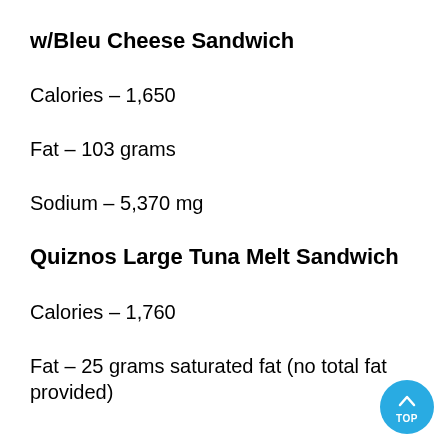w/Bleu Cheese Sandwich
Calories – 1,650
Fat – 103 grams
Sodium – 5,370 mg
Quiznos Large Tuna Melt Sandwich
Calories – 1,760
Fat – 25 grams saturated fat (no total fat provided)